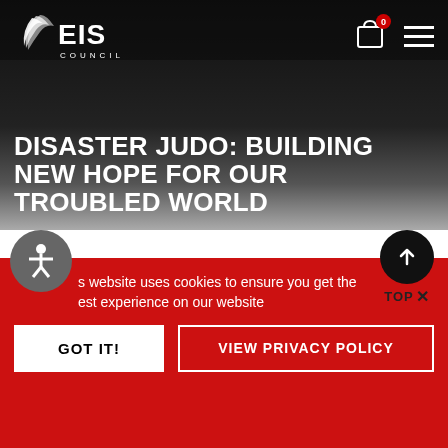EIS COUNCIL
DISASTER JUDO: BUILDING NEW HOPE FOR OUR TROUBLED WORLD
[Figure (other): Carousel pagination dots — 1 filled red dot and 12 empty red-outlined dots]
Featured Vid...
This website uses cookies to ensure you get the best experience on our website
GOT IT!   VIEW PRIVACY POLICY